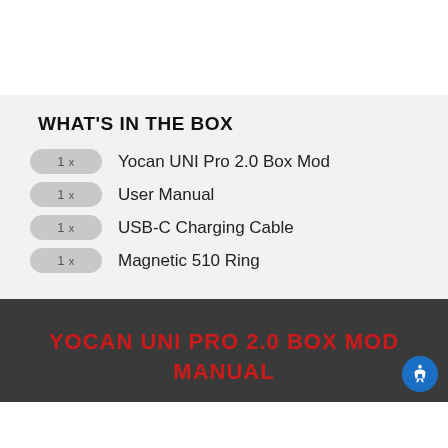WHAT'S IN THE BOX
1 x  Yocan UNI Pro 2.0 Box Mod
1 x  User Manual
1 x  USB-C Charging Cable
1 x  Magnetic 510 Ring
YOCAN UNI PRO 2.0 BOX MOD MANUAL